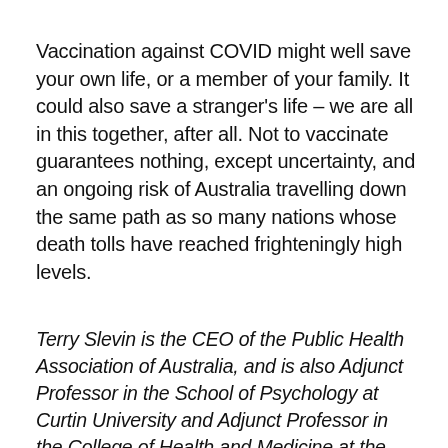Vaccination against COVID might well save your own life, or a member of your family. It could also save a stranger's life – we are all in this together, after all. Not to vaccinate guarantees nothing, except uncertainty, and an ongoing risk of Australia travelling down the same path as so many nations whose death tolls have reached frighteningly high levels.
Terry Slevin is the CEO of the Public Health Association of Australia, and is also Adjunct Professor in the School of Psychology at Curtin University and Adjunct Professor in the College of Health and Medicine at the Australian National University.